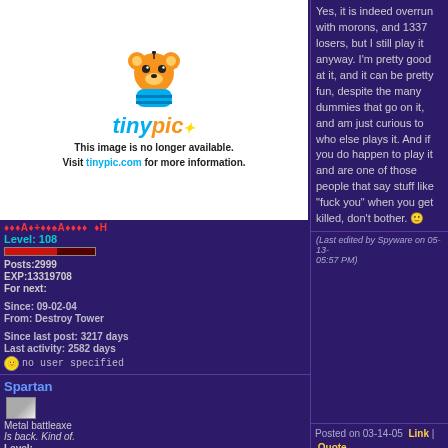[Figure (screenshot): TinyPic placeholder image showing the TinyPic logo and message 'This image is no longer available. Visit tinypic.com for more information.']
♦♦♦A♦+♦♦♠A♦♦♦♦  ♦H
Level: 108
Posts:2999
EXP:13319708
For next:
Since: 09-02-04
From: Destroy Tower
Since last post: 3217 days
Last activity: 2582 days
no user specified
Yes, it is indeed overrun with morons, and 1337 losers, but I still play it anyway. I'm pretty good at it, and it can be pretty fun, despite the many dummies that go on it, and am just curious to who else plays it. And if you do happen to play it and are one of those people that say stuff like "fuck you" when you get killed, don't bother. 🙂
(Last edited by Spyware on 05-13-
05:57 PM)
Spartan
[Figure (illustration): Small metallic badge/shield icon for user Spartan]
Metal battleaxe
Is back. Kind of.
Level:
Posts:  1566
EXP:4997667
For next:
Posted on 03-14-05  06:26 PM
I play source sometimes, but man some people are really good...